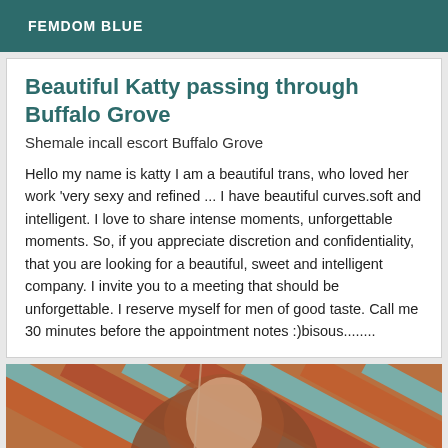FEMDOM BLUE
Beautiful Katty passing through Buffalo Grove
Shemale incall escort Buffalo Grove
Hello my name is katty I am a beautiful trans, who loved her work 'very sexy and refined ... I have beautiful curves.soft and intelligent. I love to share intense moments, unforgettable moments. So, if you appreciate discretion and confidentiality, that you are looking for a beautiful, sweet and intelligent company. I invite you to a meeting that should be unforgettable. I reserve myself for men of good taste. Call me 30 minutes before the appointment notes :)bisous........
[Figure (photo): Partial photo of a woman with reddish-brown hair, with striped background in red and teal colors]